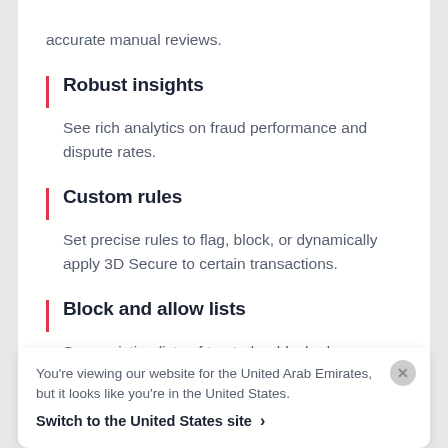accurate manual reviews.
Robust insights
See rich analytics on fraud performance and dispute rates.
Custom rules
Set precise rules to flag, block, or dynamically apply 3D Secure to certain transactions.
Block and allow lists
Sync existing lists of trusted or blocked users.
You're viewing our website for the United Arab Emirates, but it looks like you're in the United States.
Switch to the United States site ›